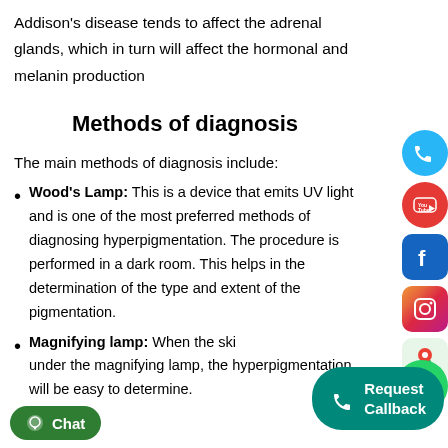Addison's disease tends to affect the adrenal glands, which in turn will affect the hormonal and melanin production
Methods of diagnosis
The main methods of diagnosis include:
Wood's Lamp: This is a device that emits UV light and is one of the most preferred methods of diagnosing hyperpigmentation. The procedure is performed in a dark room. This helps in the determination of the type and extent of the pigmentation.
Magnifying lamp: When the skin is examined under the magnifying lamp, the hyperpigmentation will be easy to determine.
[Figure (infographic): Social media icons on right side: phone (blue circle), YouTube (red circle), Facebook (blue rounded square), Instagram (gradient rounded square), Google Maps (rounded square), WhatsApp (green circle). Chat button bottom left (green). Request Callback button bottom right (teal).]